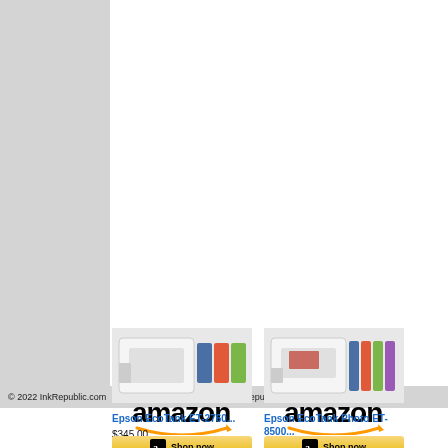[Figure (other): Gray left panel area, partial screenshot of a document page]
© 2022 InkRepublic.com    Email: CustomerCare@InkRepublic.com
[Figure (logo): Amazon logo (left product card)]
[Figure (logo): Amazon logo (right product card)]
[Figure (photo): Epson EcoTank ET-2760 printer product photo]
[Figure (photo): Epson EcoTank Photo ET-8500 printer product photo]
Epson EcoTank ET-2760...
$345.00
Epson EcoTank Photo ET-8500...
$672.63
[Figure (other): Shop now button (left)]
[Figure (other): Shop now button (right)]